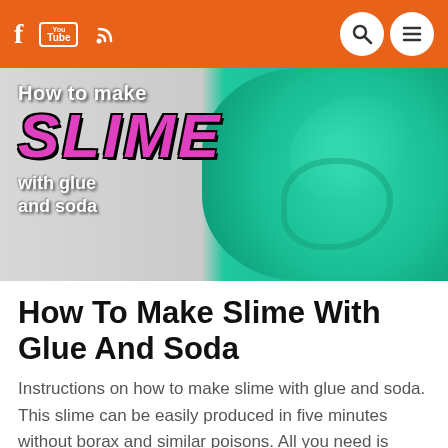Navigation bar with Facebook, YouTube, RSS icons and search/menu buttons
[Figure (photo): Thumbnail image showing teal/turquoise slime being stretched, with overlaid text reading 'How to make SLIME with glue and soda' in stylized fonts. The background is light grey on the left and teal on the right.]
How To Make Slime With Glue And Soda
Instructions on how to make slime with glue and soda. This slime can be easily produced in five minutes without borax and similar poisons. All you need is